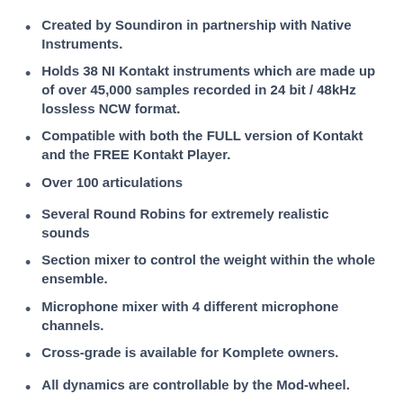Created by Soundiron in partnership with Native Instruments.
Holds 38 NI Kontakt instruments which are made up of over 45,000 samples recorded in 24 bit / 48kHz lossless NCW format.
Compatible with both the FULL version of Kontakt and the FREE Kontakt Player.
Over 100 articulations
Several Round Robins for extremely realistic sounds
Section mixer to control the weight within the whole ensemble.
Microphone mixer with 4 different microphone channels.
Cross-grade is available for Komplete owners.
All dynamics are controllable by the Mod-wheel.
Articulation change via customizable Key-switches.
Dynamic Legato, Staccato, Sustain, Expression, and Effects